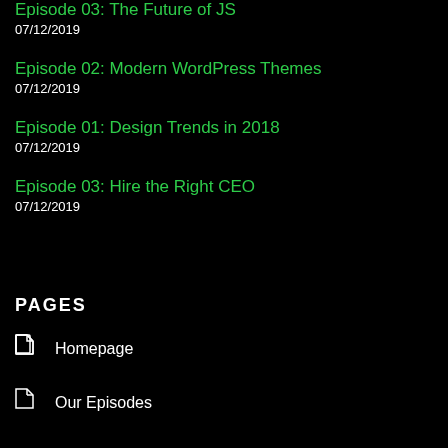Episode 03: The Future of JS
07/12/2019
Episode 02: Modern WordPress Themes
07/12/2019
Episode 01: Design Trends in 2018
07/12/2019
Episode 03: Hire the Right CEO
07/12/2019
PAGES
Homepage
Our Episodes